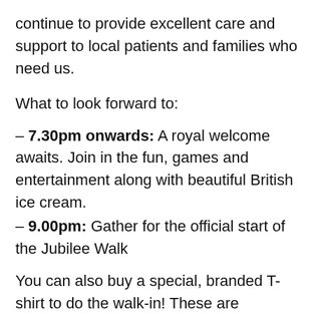continue to provide excellent care and support to local patients and families who need us.
What to look forward to:
– 7.30pm onwards: A royal welcome awaits. Join in the fun, games and entertainment along with beautiful British ice cream.
– 9.00pm: Gather for the official start of the Jubilee Walk
You can also buy a special, branded T-shirt to do the walk-in! These are available in our Acomb, Broadway, Easingwold, Selby, Tang Hall, Haxby